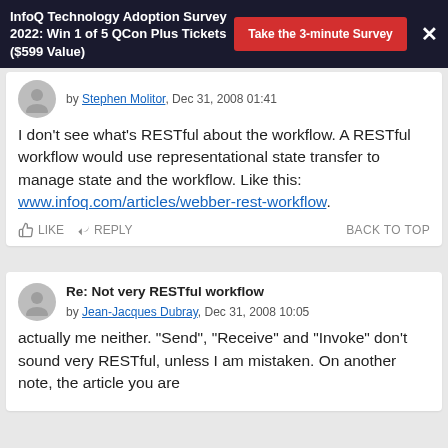InfoQ Technology Adoption Survey 2022: Win 1 of 5 QCon Plus Tickets ($599 Value) | Take the 3-minute Survey
by Stephen Molitor, Dec 31, 2008 01:41
I don't see what's RESTful about the workflow. A RESTful workflow would use representational state transfer to manage state and the workflow. Like this: www.infoq.com/articles/webber-rest-workflow.
LIKE   REPLY   BACK TO TOP
Re: Not very RESTful workflow
by Jean-Jacques Dubray, Dec 31, 2008 10:05
actually me neither. "Send", "Receive" and "Invoke" don't sound very RESTful, unless I am mistaken. On another note, the article you are